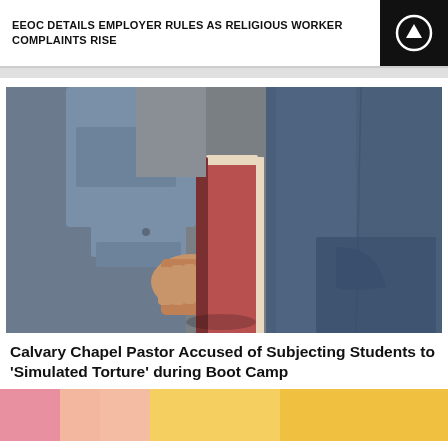EEOC DETAILS EMPLOYER RULES AS RELIGIOUS WORKER COMPLAINTS RISE
[Figure (photo): Close-up photo of a person's hand holding a large book (resembling a Bible) at their side, wearing a denim shirt and jeans, against a grey background.]
Calvary Chapel Pastor Accused of Subjecting Students to 'Simulated Torture' during Boot Camp
[Figure (photo): Partial view of a colorful image at the bottom of the page, showing pink and yellow/orange tones.]